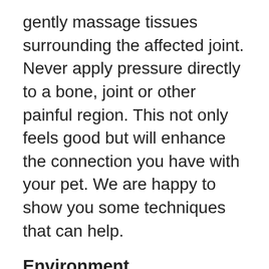gently massage tissues surrounding the affected joint. Never apply pressure directly to a bone, joint or other painful region. This not only feels good but will enhance the connection you have with your pet. We are happy to show you some techniques that can help.
Environment
Look at your pet's environment through their eyes. Which areas of your home could be improved to reduce their difficulties? For instance,